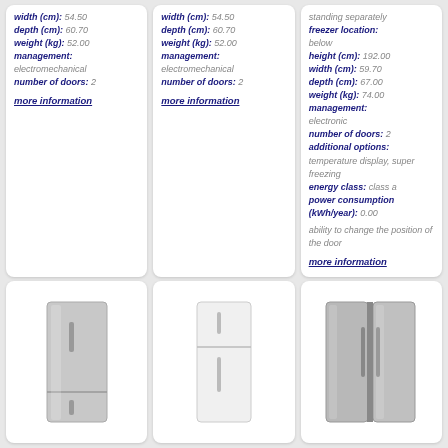width (cm): 54.50 depth (cm): 60.70 weight (kg): 52.00 management: electromechanical number of doors: 2
more information
width (cm): 54.50 depth (cm): 60.70 weight (kg): 52.00 management: electromechanical number of doors: 2
more information
standing separately freezer location: below height (cm): 192.00 width (cm): 59.70 depth (cm): 67.00 weight (kg): 74.00 management: electronic number of doors: 2 additional options: temperature display, super freezing energy class: class a power consumption (kWh/year): 0.00 ability to change the position of the door
more information
[Figure (photo): Tall stainless steel fridge-freezer, freezer on bottom]
[Figure (photo): White fridge-freezer with freezer on top]
[Figure (photo): Side-by-side stainless steel refrigerator]